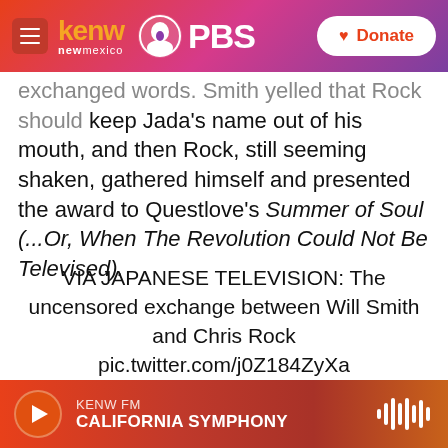KENW New Mexico PBS | Donate
exchanged words. Smith yelled that Rock should keep Jada's name out of his mouth, and then Rock, still seeming shaken, gathered himself and presented the award to Questlove's Summer of Soul (...Or, When The Revolution Could Not Be Televised).
VIA JAPANESE TELEVISION: The uncensored exchange between Will Smith and Chris Rock pic.twitter.com/j0Z184ZyXa
— Timothy Burke (@bubbaprog)
KENW FM | CALIFORNIA SYMPHONY